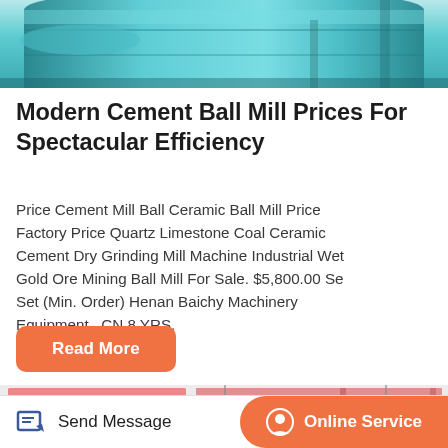[Figure (photo): Top portion of a blue cylindrical industrial mill or tank, viewed from below/side, with teal/cyan metallic surface]
Modern Cement Ball Mill Prices For Spectacular Efficiency
Price Cement Mill Ball Ceramic Ball Mill Price Factory Price Quartz Limestone Coal Ceramic Cement Dry Grinding Mill Machine Industrial Wet Gold Ore Mining Ball Mill For Sale. $5,800.00 Set Set (Min. Order) Henan Baichy Machinery Equipment . CN 8 YRS.
[Figure (other): Orange rounded square button with white upward-pointing chevron/arrow icon, floating on right side]
Read More
[Figure (photo): Bottom section showing two images of red/pink industrial building facades with horizontal striped paneling]
Send Message    Online Service